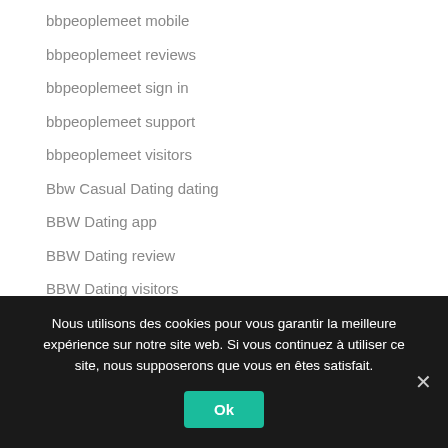bbpeoplemeet mobile
bbpeoplemeet reviews
bbpeoplemeet sign in
bbpeoplemeet support
bbpeoplemeet visitors
Bbw Casual Dating dating
BBW Dating app
BBW Dating review
BBW Dating visitors
BBW Real Porn
BBW Real Sex Webcams
Nous utilisons des cookies pour vous garantir la meilleure expérience sur notre site web. Si vous continuez à utiliser ce site, nous supposerons que vous en êtes satisfait.